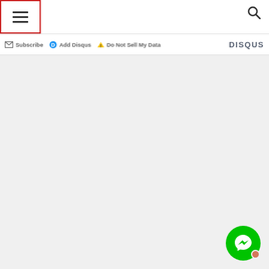[Figure (screenshot): Menu hamburger icon inside a red-bordered box in the top-left corner of a webpage header]
[Figure (screenshot): Search icon (magnifying glass) in the top-right corner of the header]
Subscribe  Add Disqus  Do Not Sell My Data   DISQUS
[Figure (screenshot): Green circular Facebook Messenger chat button in the bottom-right corner with a small orange dot]